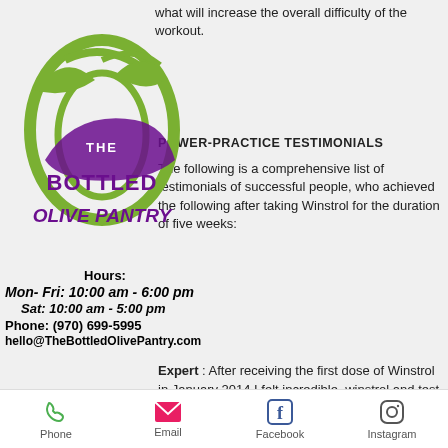what will increase the overall difficulty of the workout
[Figure (logo): The Bottled Olive Pantry logo with olive branch and stylized text]
POWER-PRACTICE TESTIMONIALS
The following is a comprehensive list of testimonials of successful people, who achieved the following after taking Winstrol for the duration of five weeks:
Hours:
Mon- Fri:  10:00 am - 6:00 pm
Sat:  10:00 am - 5:00 pm
Phone: (970) 699-5995
hello@TheBottledOlivePantry.com
Expert : After receiving the first dose of Winstrol in January 2014 I felt incredible, winstrol and test e cycle4. For most people it took the whole month to get to a level of muscle strength that I needed, winstrol and test e cycle5. I was also able to increase my reps as well as my weight.
Phone  Email  Facebook  Instagram